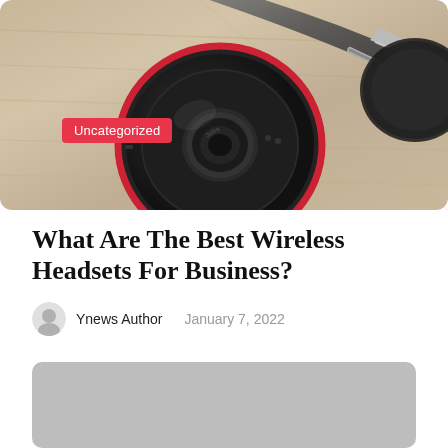[Figure (photo): Close-up photo of a Jabra wireless headset lying on a wooden surface, viewed from the side showing ear cup detail with branding]
Uncategorized
What Are The Best Wireless Headsets For Business?
Ynews Author   January 7, 2022
[Figure (other): Gray rounded rectangle placeholder block]